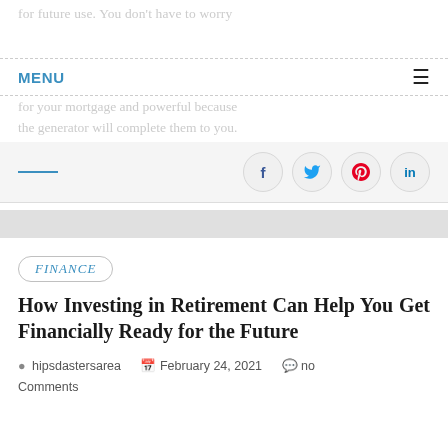for future use. You don't have to worry for future use. You don't have to worry for your mortgage and powerful because the generator will complete them to you.
MENU ≡
[Figure (infographic): Social sharing icons: Facebook (f), Twitter bird, Pinterest (p), LinkedIn (in) in circular bordered buttons]
How Investing in Retirement Can Help You Get Financially Ready for the Future
FINANCE
hipsdastersarea  February 24, 2021  no Comments